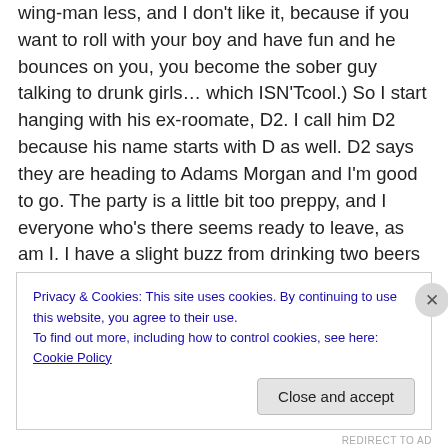wing-man less, and I don't like it, because if you want to roll with your boy and have fun and he bounces on you, you become the sober guy talking to drunk girls… which ISN'Tcool.) So I start hanging with his ex-roomate, D2. I call him D2 because his name starts with D as well. D2 says they are heading to Adams Morgan and I'm good to go. The party is a little bit too preppy, and I everyone who's there seems ready to leave, as am I. I have a slight buzz from drinking two beers and two cokes heavily laced with a whiskey I can't remember. We start walking and run into two other guys—a tall, burly fellow wearing a shirt with
Privacy & Cookies: This site uses cookies. By continuing to use this website, you agree to their use.
To find out more, including how to control cookies, see here: Cookie Policy